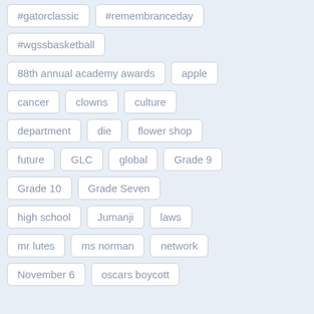#gatorclassic
#remembranceday
#wgssbasketball
88th annual academy awards
apple
cancer
clowns
culture
department
die
flower shop
future
GLC
global
Grade 9
Grade 10
Grade Seven
high school
Jumanji
laws
mr lutes
ms norman
network
November 6
oscars boycott